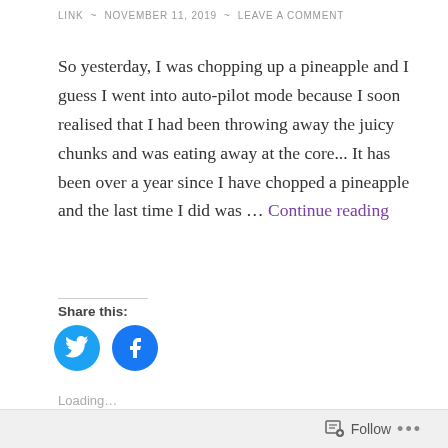LINK ~ NOVEMBER 11, 2019 ~ LEAVE A COMMENT
So yesterday, I was chopping up a pineapple and I guess I went into auto-pilot mode because I soon realised that I had been throwing away the juicy chunks and was eating away at the core... It has been over a year since I have chopped a pineapple and the last time I did was ... Continue reading
Share this:
[Figure (illustration): Twitter and Facebook share icon buttons (circular blue icons)]
Loading...
Follow ...